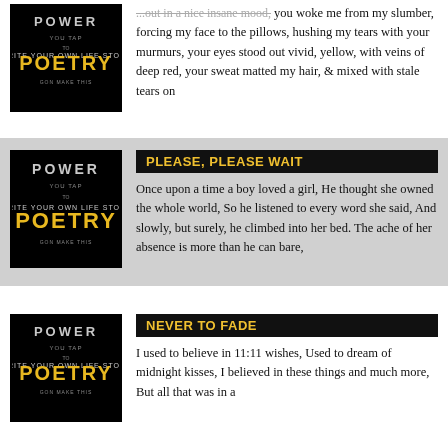[Figure (illustration): Power Poetry logo on black background]
...out in a nice insane mood, you woke me from my slumber, forcing my face to the pillows, hushing my tears with your murmurs, your eyes stood out vivid, yellow, with veins of deep red, your sweat matted my hair, & mixed with stale tears on
[Figure (illustration): Power Poetry logo on black background]
PLEASE, PLEASE WAIT
Once upon a time a boy loved a girl, He thought she owned the whole world, So he listened to every word she said, And slowly, but surely, he climbed into her bed. The ache of her absence is more than he can bare,
[Figure (illustration): Power Poetry logo on black background]
NEVER TO FADE
I used to believe in 11:11 wishes,  Used to dream of midnight kisses,  I believed in these things and much more,  But all that was in a